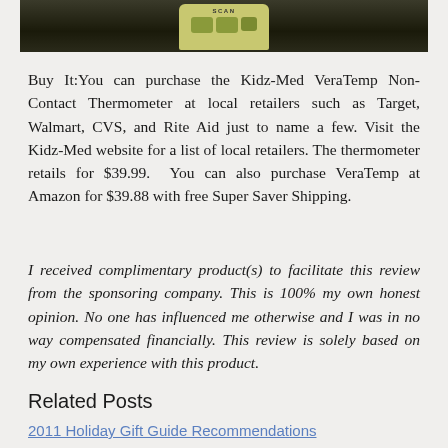[Figure (photo): Top portion of a photo showing a remote control device with green/yellow buttons on a dark background. A 'SCAN' label is visible on the device.]
Buy It:You can purchase the Kidz-Med VeraTemp Non-Contact Thermometer at local retailers such as Target, Walmart, CVS, and Rite Aid just to name a few. Visit the Kidz-Med website for a list of local retailers. The thermometer retails for $39.99.  You can also purchase VeraTemp at Amazon for $39.88 with free Super Saver Shipping.
I received complimentary product(s) to facilitate this review from the sponsoring company. This is 100% my own honest opinion. No one has influenced me otherwise and I was in no way compensated financially. This review is solely based on my own experience with this product.
Related Posts
2011 Holiday Gift Guide Recommendations